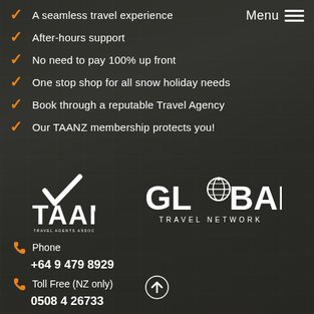Menu
A seamless travel experience
After-hours support
No need to pay 100% up front
One stop shop for all snow holiday needs
Book through a reputable Travel Agency
Our TAANZ membership protects you!
[Figure (logo): TAANZ - Travel Agents Association New Zealand logo with checkmark]
[Figure (logo): Global Travel Network logo with globe icon]
Phone
+64 9 479 8929
Toll Free (NZ only)
0508 4 26733